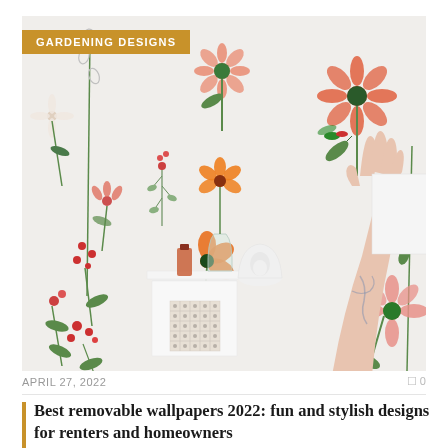[Figure (photo): A floral wallpaper scene with botanical flower illustrations in red, pink, green and white tones. A hand holds a blank card/paper near a small side table with a vase containing an orange flower, a small bottle, and a decorative white ceramic object. The wallpaper features detailed hand-drawn style botanical illustrations.]
GARDENING DESIGNS
APRIL 27, 2022
0 0
Best removable wallpapers 2022: fun and stylish designs for renters and homeowners
OWe may be out of lockdown, but our DIY mania isn't going anywhere.Spring is traditionally...